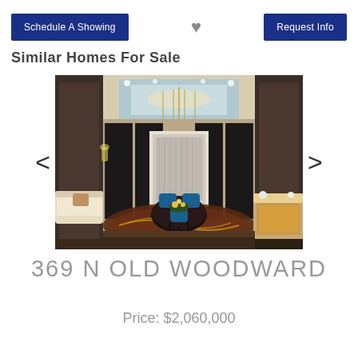Schedule A Showing
♥
Request Info
Similar Homes For Sale
[Figure (photo): Interior lobby photo of a luxury residential building showing a chandelier, round dining table with blue velvet chairs, ornate rug, cream sofa, reception desk, and dark wood paneling.]
369 N OLD WOODWARD
Price: $2,060,000